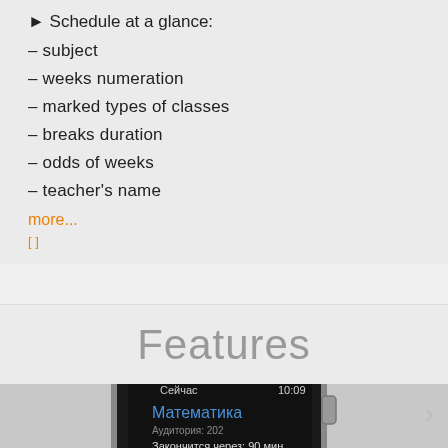► Schedule at a glance:
– subject
– weeks numeration
– marked types of classes
– breaks duration
– odds of weeks
– teacher's name
more...
Features
[Figure (screenshot): Apple Watch screenshot showing a schedule app with Cyrillic text: Сейчас 10:09, Математика, Аудитория: 202, Закончится через: 90 мин, Следующая пара:]